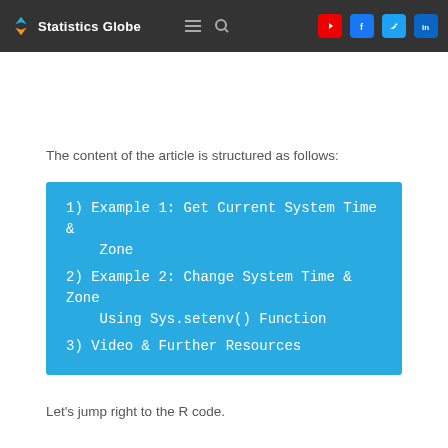Statistics Globe
The content of the article is structured as follows:
1)  Example 1: Get Current System Time & Zone
2)  Example 2: Change System Time & Zone Using Sys.setenv() Function
3)  Video & Further Resources
Let's jump right to the R code.